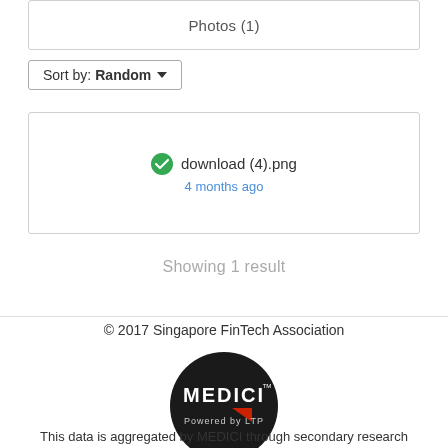Photos (1)
Sort by: Random
download (4).png
4 months ago
Showing 1 result
© 2017 Singapore FinTech Association
[Figure (logo): MEDICI Powered by LTP logo — circular black badge with white text MEDICI and red triangle accent, subtitle Powered by LTP]
This data is aggregated by MEDICI through secondary research and